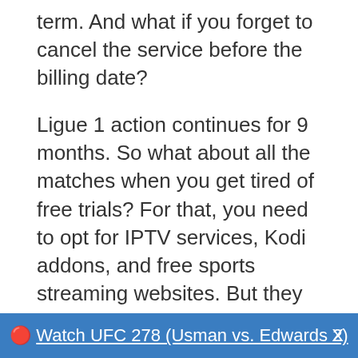term. And what if you forget to cancel the service before the billing date?
Ligue 1 action continues for 9 months. So what about all the matches when you get tired of free trials? For that, you need to opt for IPTV services, Kodi addons, and free sports streaming websites. But they do come with hurdles of their own. Let's discuss them.
Legal Disclaimer: This tutorial is purely educational. FireStickTricks.com doesn't own, host, operate, resell, or distribute any streaming apps.
🔴 Watch UFC 278 (Usman vs. Edwards 2)  X